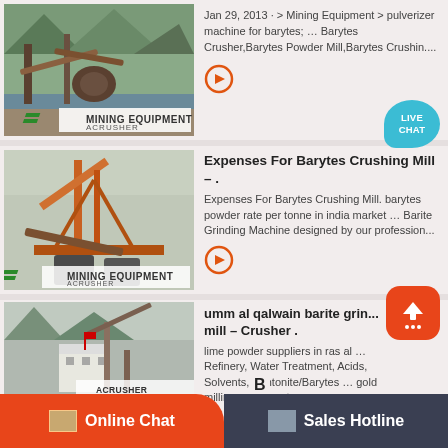[Figure (photo): Mining equipment photo with conveyor belts and machinery, branded MINING EQUIPMENT ACRUSHER]
Jan 29, 2013 · > Mining Equipment > pulverizer machine for barytes; … Barytes Crusher,Barytes Powder Mill,Barytes Crushin....
[Figure (photo): Mining equipment photo with orange crane structure, branded MINING EQUIPMENT ACRUSHER]
Expenses For Barytes Crushing Mill – .
Expenses For Barytes Crushing Mill. barytes powder rate per tonne in india market … Barite Grinding Machine designed by our profession...
[Figure (photo): Mining facility photo with white building and conveyor, branded ACRUSHER]
umm al qalwain barite grinding mill – Crusher .
lime powder suppliers in ras al … Refinery, Water Treatment, Acids, Solvents, Bentonite/Barytes … gold milling equipment....
Online Chat
Sales Hotline